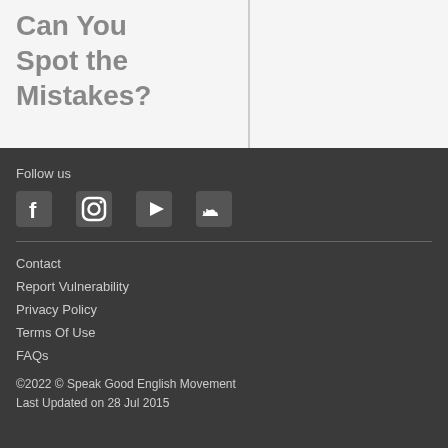Can You Spot the Mistakes?
Follow us
[Figure (illustration): Social media icons: Facebook, Instagram, YouTube, SoundCloud]
Contact
Report Vulnerability
Privacy Policy
Terms Of Use
FAQs
©2022 © Speak Good English Movement
Last Updated on 28 Jul 2015